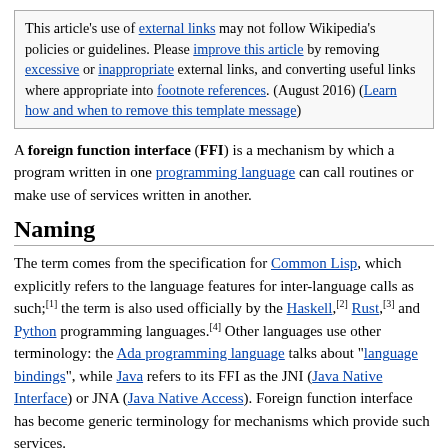This article's use of external links may not follow Wikipedia's policies or guidelines. Please improve this article by removing excessive or inappropriate external links, and converting useful links where appropriate into footnote references. (August 2016) (Learn how and when to remove this template message)
A foreign function interface (FFI) is a mechanism by which a program written in one programming language can call routines or make use of services written in another.
Naming
The term comes from the specification for Common Lisp, which explicitly refers to the language features for inter-language calls as such;[1] the term is also used officially by the Haskell,[2] Rust,[3] and Python programming languages.[4] Other languages use other terminology: the Ada programming language talks about "language bindings", while Java refers to its FFI as the JNI (Java Native Interface) or JNA (Java Native Access). Foreign function interface has become generic terminology for mechanisms which provide such services.
Operation